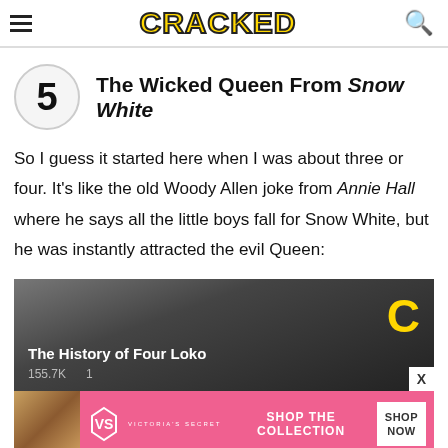CRACKED
5 The Wicked Queen From Snow White
So I guess it started here when I was about three or four. It's like the old Woody Allen joke from Annie Hall where he says all the little boys fall for Snow White, but he was instantly attracted the evil Queen:
[Figure (screenshot): Video thumbnail showing dark background with text 'The History of Four Loko', stats '155.7K  1', a large gold letter C (Cracked logo), and a person in dark clothing]
[Figure (screenshot): Advertisement banner for Victoria's Secret featuring a woman model, VS logo, text 'SHOP THE COLLECTION' and 'SHOP NOW' button on pink background]